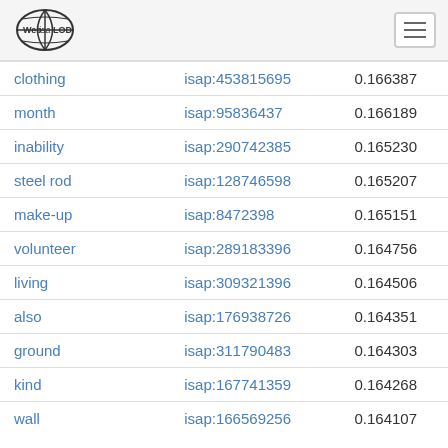Web isa LOD (logo) with hamburger menu
| clothing | isap:453815695 | 0.166387 |
| month | isap:95836437 | 0.166189 |
| inability | isap:290742385 | 0.165230 |
| steel rod | isap:128746598 | 0.165207 |
| make-up | isap:8472398 | 0.165151 |
| volunteer | isap:289183396 | 0.164756 |
| living | isap:309321396 | 0.164506 |
| also | isap:176938726 | 0.164351 |
| ground | isap:311790483 | 0.164303 |
| kind | isap:167741359 | 0.164268 |
| wall | isap:166569256 | 0.164107 |